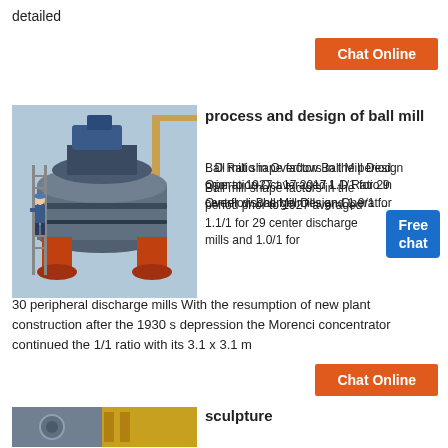detailed
[Figure (other): Chat Online button (orange)]
[Figure (photo): Industrial ball mill with worker on ladder climbing large cylindrical grinding machine at a plant construction site]
process and design of ball mill
L D Ratio in Overflow Ball Mill Design Operation Oct 17 2017 L D Ratio in Overflow Ball Mill Design Operation Ball mill shape factors in the period prior to 1927 averaged 1.1/1 for 29 center discharge mills and 1.0/1 for 30 peripheral discharge mills With the resumption of new plant construction after the 1930 s depression the Morenci concentrator continued the 1/1 ratio with its 3.1 x 3.1 m
[Figure (other): Free chat badge (blue)]
[Figure (other): Chat Online button (orange)]
sculpture
[Figure (photo): Industrial machinery or sculpture image at bottom of page]